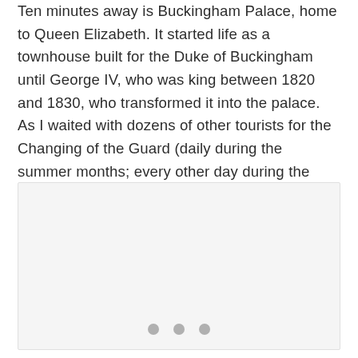Ten minutes away is Buckingham Palace, home to Queen Elizabeth. It started life as a townhouse built for the Duke of Buckingham until George IV, who was king between 1820 and 1830, who transformed it into the palace. As I waited with dozens of other tourists for the Changing of the Guard (daily during the summer months; every other day during the winter), I checked the history of the Palace using Monument Tracker. Interestingly:
[Figure (other): A light gray rectangular placeholder image area with three gray dots at the bottom center, indicating an image carousel or loading indicator.]